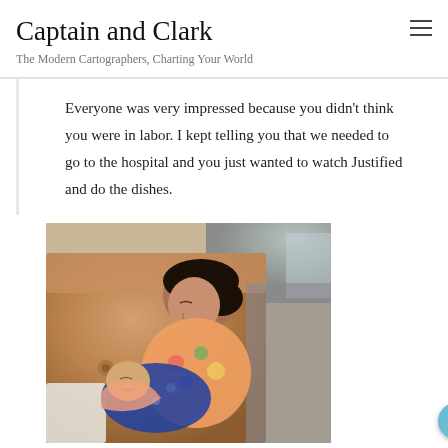Captain and Clark
The Modern Cartographers, Charting Your World
Everyone was very impressed because you didn't think you were in labor. I kept telling you that we needed to go to the hospital and you just wanted to watch Justified and do the dishes.
[Figure (photo): A woman resting on a brown leather sofa holding a sleeping newborn baby wrapped in a floral blanket. The woman has dark hair pulled back and is wearing a colorful floral top. She is looking down at the baby.]